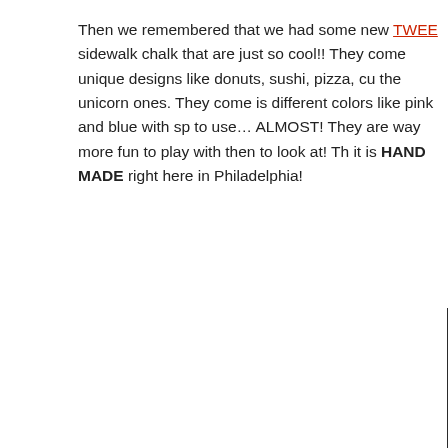Then we remembered that we had some new TWEE sidewalk chalk that are just so cool!! They come unique designs like donuts, sushi, pizza, cu the unicorn ones. They come is different colors like pink and blue with sp to use… ALMOST! They are way more fun to play with then to look at! Th it is HAND MADE right here in Philadelphia!
[Figure (photo): Two unicorn horn-shaped sidewalk chalks in clear packaging with TWEE branding labels. Left chalk is pink/rainbow colored; right is white/blue. Labels read 'TWEE SIDEWALK CHALK 1 Unicorn Horn' and 'TWEE LLC tweemade.com hello@tweemade.com'. Background is dark asphalt/gravel.]